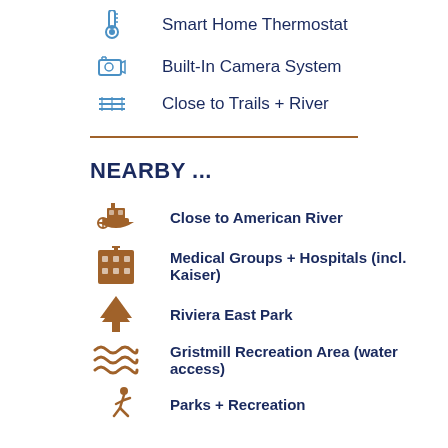Smart Home Thermostat
Built-In Camera System
Close to Trails + River
NEARBY ...
Close to American River
Medical Groups + Hospitals (incl. Kaiser)
Riviera East Park
Gristmill Recreation Area (water access)
Parks + Recreation